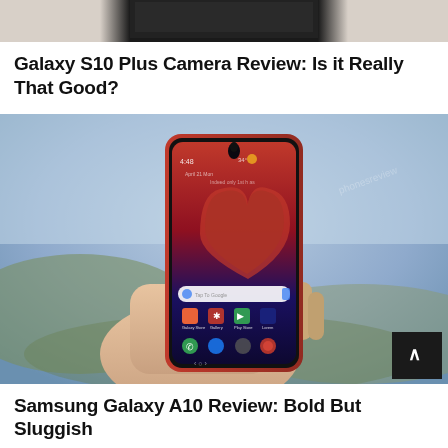[Figure (photo): Partial top view of a dark/black Samsung smartphone, cropped — only the top portion of the device is visible against a light background.]
Galaxy S10 Plus Camera Review: Is it Really That Good?
[Figure (photo): A hand holding a red Samsung Galaxy A10 smartphone outdoors, showing the home screen with time 4:48 displayed, with a blurred landscape background. A scroll-to-top button (dark square with upward chevron) is visible in the bottom right corner.]
Samsung Galaxy A10 Review: Bold But Sluggish